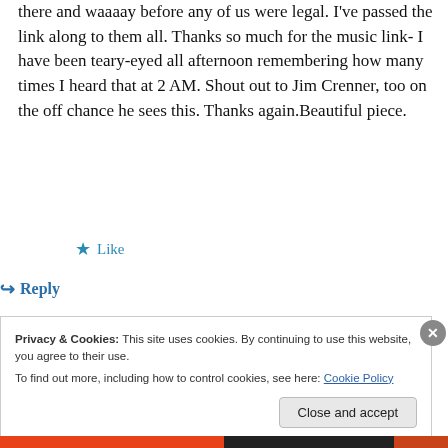there and waaaay before any of us were legal. I've passed the link along to them all. Thanks so much for the music link- I have been teary-eyed all afternoon remembering how many times I heard that at 2 AM. Shout out to Jim Crenner, too on the off chance he sees this. Thanks again.Beautiful piece.
★ Like
↳ Reply
Privacy & Cookies: This site uses cookies. By continuing to use this website, you agree to their use.
To find out more, including how to control cookies, see here: Cookie Policy
Close and accept